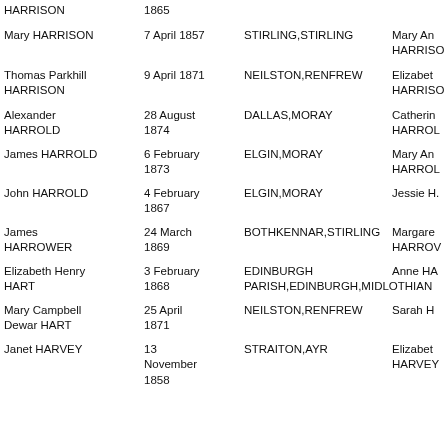| Name | Date | Place | Parent |
| --- | --- | --- | --- |
| HARRISON | 1865 |  |  |
| Mary HARRISON | 7 April 1857 | STIRLING,STIRLING | Mary An HARRISO |
| Thomas Parkhill HARRISON | 9 April 1871 | NEILSTON,RENFREW | Elizabet HARRISO |
| Alexander HARROLD | 28 August 1874 | DALLAS,MORAY | Catherin HARROL |
| James HARROLD | 6 February 1873 | ELGIN,MORAY | Mary An HARROL |
| John HARROLD | 4 February 1867 | ELGIN,MORAY | Jessie H. |
| James HARROWER | 24 March 1869 | BOTHKENNAR,STIRLING | Margare HARROV |
| Elizabeth Henry HART | 3 February 1868 | EDINBURGH PARISH,EDINBURGH,MIDLOTHIAN | Anne HA |
| Mary Campbell Dewar HART | 25 April 1871 | NEILSTON,RENFREW | Sarah H |
| Janet HARVEY | 13 November 1858 | STRAITON,AYR | Elizabet HARVEY |